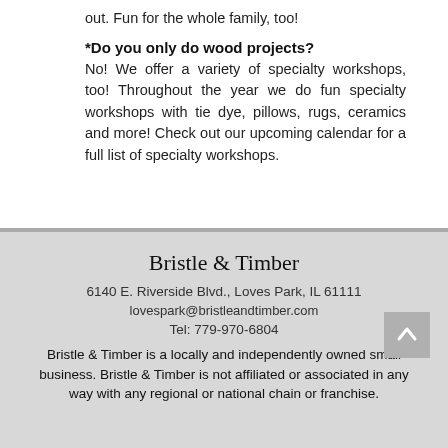out.  Fun for the whole family, too!
*Do you only do wood projects?
No!  We offer a variety of specialty workshops, too!  Throughout the year we do fun specialty workshops with tie dye, pillows, rugs, ceramics and more!  Check out our upcoming calendar for a full list of specialty workshops.
Bristle & Timber
6140 E. Riverside Blvd., Loves Park, IL 61111
lovespark@bristleandtimber.com
Tel: 779-970-6804
Bristle & Timber is a locally and independently owned small business.  Bristle & Timber is not affiliated or associated in any way with any regional or national chain or franchise.